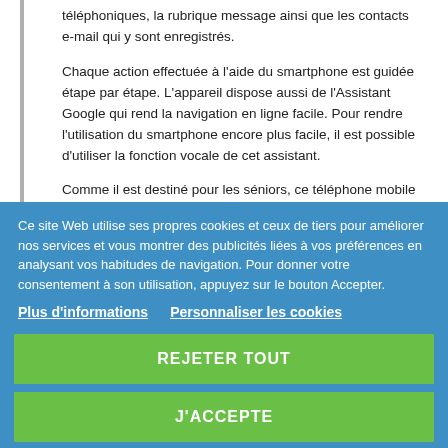téléphoniques, la rubrique message ainsi que les contacts e-mail qui y sont enregistrés.
Chaque action effectuée à l'aide du smartphone est guidée étape par étape. L'appareil dispose aussi de l'Assistant Google qui rend la navigation en ligne facile. Pour rendre l'utilisation du smartphone encore plus facile, il est possible d'utiliser la fonction vocale de cet assistant.
Comme il est destiné pour les séniors, ce téléphone mobile est doté d'une touche SOS. Localisée dans le dos de l'appareil, celle-ci est utile pour contacter les proches du propriétaire en cas de problème. Il suffit d'enregistrer jusqu'à leur contact.
Caractéristiques :
...les principales caractéristiques...
Ce site Web utilise ses propres cookies et ceux de tiers pour améliorer nos services et vous montrer des publicités liées à vos préférences en analysant vos habitudes de navigation. Pour donner votre consentement à son utilisation, appuyez sur le bouton Accepter.
Plus d'informations
Personnaliser les cookies
REJETER TOUT
J'ACCEPTE